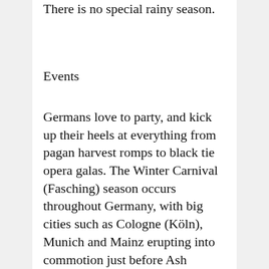There is no special rainy season.
Events
Germans love to party, and kick up their heels at everything from pagan harvest romps to black tie opera galas. The Winter Carnival (Fasching) season occurs throughout Germany, with big cities such as Cologne (Köln), Munich and Mainz erupting into commotion just before Ash Wednesday. Germany's rich musical heritage is showcased